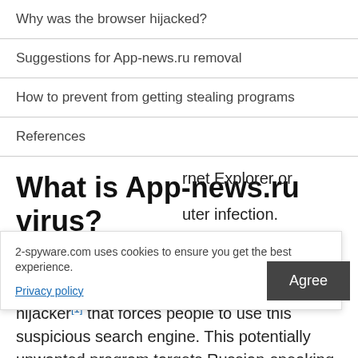Why was the browser hijacked?
Suggestions for App-news.ru removal
How to prevent from getting stealing programs
References
What is App-news.ru virus?
Basic facts about App-news.ru virus
App-news.ru virus is another browser hijacker[1] that forces people to use this suspicious search engine. This potentially unwanted program targets Russian-speaking computer users and aims at their web browsers. Sadly, most popular ... Internet Explorer or ... uter infection. ... sy. When you
2-spyware.com uses cookies to ensure you get the best experience.
Privacy policy
Agree